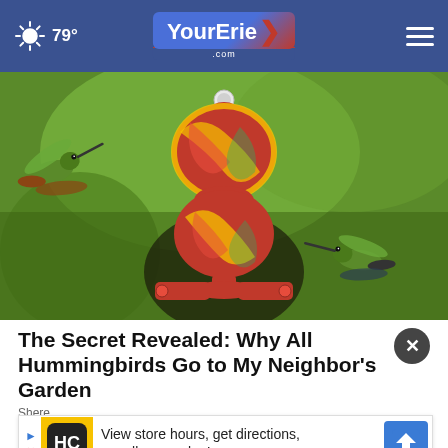79° YourErie .com
[Figure (photo): A colorful red and yellow swirled glass hummingbird feeder with two hummingbirds, one on the left hovering and one on the lower right, against a green blurred background]
The Secret Revealed: Why All Hummingbirds Go to My Neighbor's Garden
Shere
[Figure (infographic): Advertisement banner: HC logo in yellow box, text 'View store hours, get directions, or call your salon!' with blue directions arrow icon]